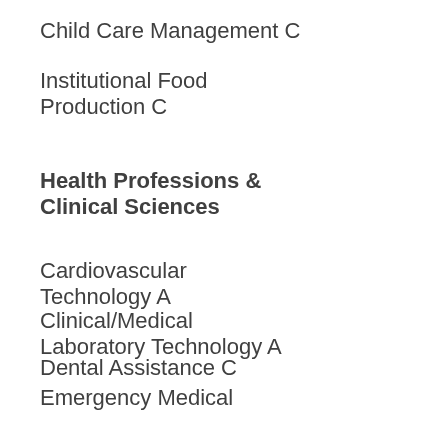Child Care Management C
Institutional Food Production C
Health Professions & Clinical Sciences
Cardiovascular Technology A
Clinical/Medical Laboratory Technology A
Dental Assistance C
Emergency Medical Technology A,C
Medical Administrative Assistance C
Medical Assistance C
Medical Records